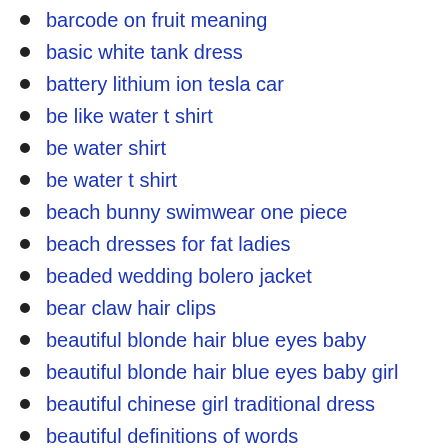barcode on fruit meaning
basic white tank dress
battery lithium ion tesla car
be like water t shirt
be water shirt
be water t shirt
beach bunny swimwear one piece
beach dresses for fat ladies
beaded wedding bolero jacket
bear claw hair clips
beautiful blonde hair blue eyes baby
beautiful blonde hair blue eyes baby girl
beautiful chinese girl traditional dress
beautiful definitions of words
beautiful dresses for fat ladies